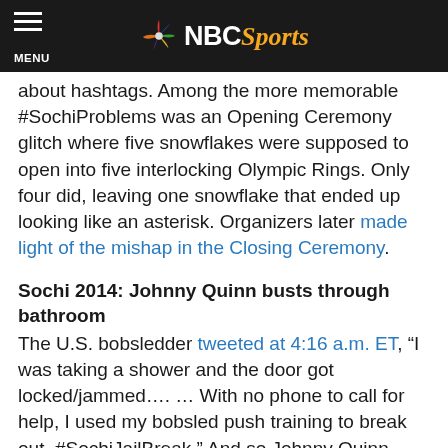NBC Sports
about hashtags. Among the more memorable #SochiProblems was an Opening Ceremony glitch where five snowflakes were supposed to open into five interlocking Olympic Rings. Only four did, leaving one snowflake that ended up looking like an asterisk. Organizers later made light of the mishap in the Closing Ceremony.
Sochi 2014: Johnny Quinn busts through bathroom
The U.S. bobsledder tweeted at 4:16 a.m. ET, “I was taking a shower and the door got locked/jammed…. … With no phone to call for help, I used my bobsled push training to break out. #SochiJailBreak.” And so Johnny Quinn became a social media sensation. He capitalized, training with a SWAT team (after the Games) and becoming a public speaker. Quinn, a former NFL preseason wide receiver, told his story in front of Fidelity